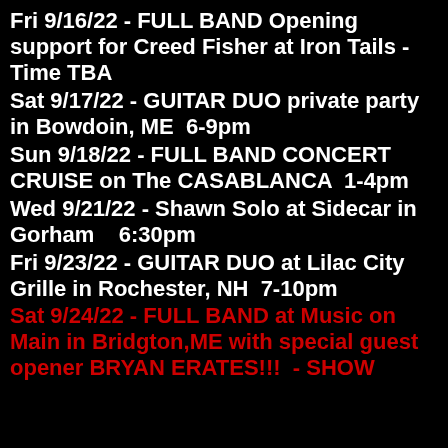Fri 9/16/22 - FULL BAND Opening support for Creed Fisher at Iron Tails - Time TBA
Sat 9/17/22 - GUITAR DUO private party in Bowdoin, ME  6-9pm
Sun 9/18/22 - FULL BAND CONCERT CRUISE on The CASABLANCA  1-4pm
Wed 9/21/22 - Shawn Solo at Sidecar in Gorham   6:30pm
Fri 9/23/22 - GUITAR DUO at Lilac City Grille in Rochester, NH  7-10pm
Sat 9/24/22 - FULL BAND at Music on Main in Bridgton,ME with special guest opener BRYAN ERATES!!!  - SHOW